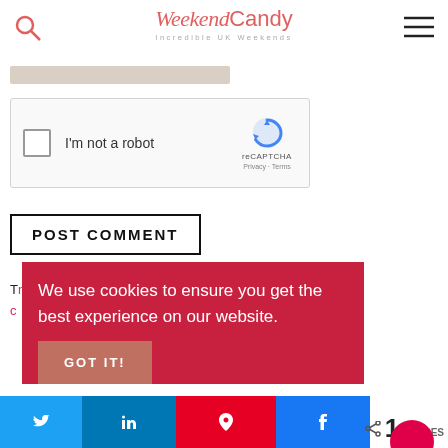Weekend Candy — Incredible UK Weekends
[Figure (screenshot): reCAPTCHA widget with checkbox labeled 'I'm not a robot' and reCAPTCHA logo with Privacy and Terms links]
POST COMMENT
We use cookies to ensure you get the best experience on our website.
GOT IT!